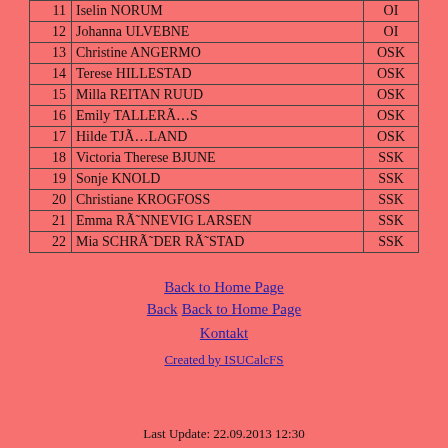| # | Name | Club |
| --- | --- | --- |
| 11 | Iselin NORUM | OI |
| 12 | Johanna ULVEBNE | OI |
| 13 | Christine ANGERMO | OSK |
| 14 | Terese HILLESTAD | OSK |
| 15 | Milla REITAN RUUD | OSK |
| 16 | Emily TALLERÃ…S | OSK |
| 17 | Hilde TJÃ…LAND | OSK |
| 18 | Victoria Therese BJUNE | SSK |
| 19 | Sonje KNOLD | SSK |
| 20 | Christiane KROGFOSS | SSK |
| 21 | Emma RÃ˜NNEVIG LARSEN | SSK |
| 22 | Mia SCHRÃ˜DER RÃ˜STAD | SSK |
Back to Home Page
Back Back to Home Page
Kontakt
Created by ISUCalcFS
Last Update: 22.09.2013 12:30